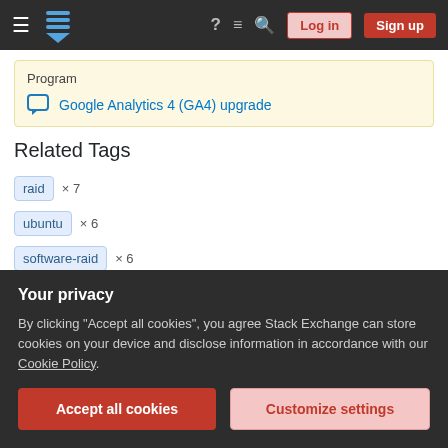Stack Exchange navigation bar with Log in and Sign up buttons
Program
Google Analytics 4 (GA4) upgrade
Related Tags
raid × 7
ubuntu × 6
software-raid × 6
raid1 × 6
Your privacy
By clicking "Accept all cookies", you agree Stack Exchange can store cookies on your device and disclose information in accordance with our Cookie Policy.
Accept all cookies  Customize settings